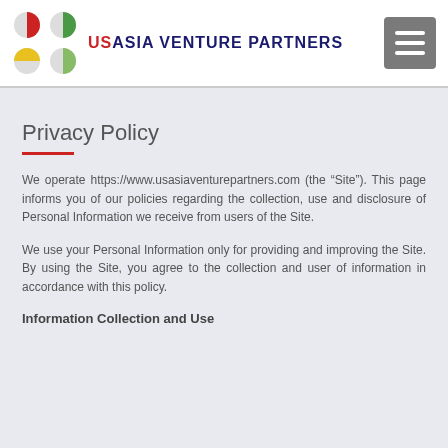[Figure (logo): USAsia Venture Partners logo with four colored circle segments (red, green, yellow, light green) and company name]
Privacy Policy
We operate https://www.usasiaventurepartners.com (the “Site”). This page informs you of our policies regarding the collection, use and disclosure of Personal Information we receive from users of the Site.
We use your Personal Information only for providing and improving the Site. By using the Site, you agree to the collection and user of information in accordance with this policy.
Information Collection and Use